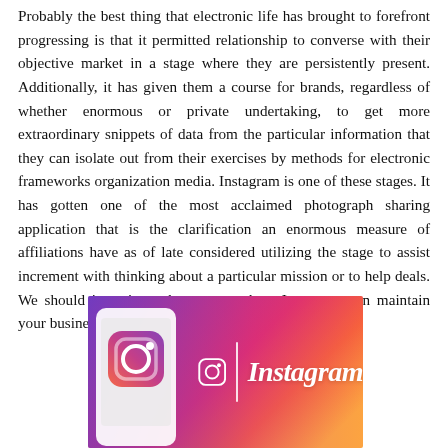Probably the best thing that electronic life has brought to forefront progressing is that it permitted relationship to converse with their objective market in a stage where they are persistently present. Additionally, it has given them a course for brands, regardless of whether enormous or private undertaking, to get more extraordinary snippets of data from the particular information that they can isolate out from their exercises by methods for electronic frameworks organization media. Instagram is one of these stages. It has gotten one of the most acclaimed photograph sharing application that is the clarification an enormous measure of affiliations have as of late considered utilizing the stage to assist increment with thinking about a particular mission or to help deals. We should investigate the ways on how Instagram can maintain your business:
[Figure (photo): Instagram logo with gradient purple-pink-orange background and Instagram wordmark with camera icon]